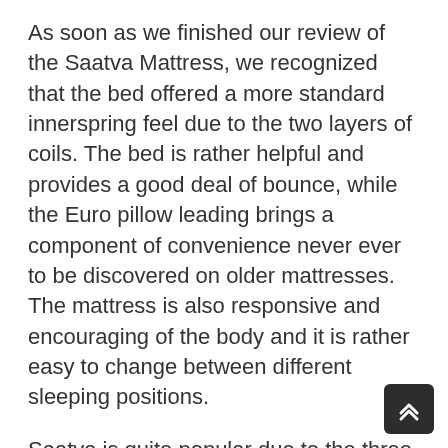As soon as we finished our review of the Saatva Mattress, we recognized that the bed offered a more standard innerspring feel due to the two layers of coils. The bed is rather helpful and provides a good deal of bounce, while the Euro pillow leading brings a component of convenience never ever to be discovered on older mattresses. The mattress is also responsive and encouraging of the body and it is rather easy to change between different sleeping positions.
Saatva is quite popular due to the three various firmness levels, which make it the best mattress for a variety of sleeping types. Let's investigate each firmness profile of each kind of mattress design.
The “plush soft model” has actually been rated a medium. This mattress is soft to the touch and has